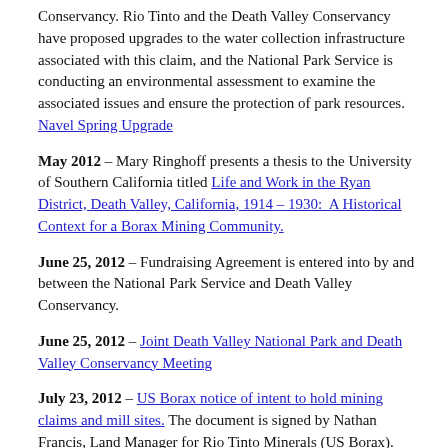Conservancy. Rio Tinto and the Death Valley Conservancy have proposed upgrades to the water collection infrastructure associated with this claim, and the National Park Service is conducting an environmental assessment to examine the associated issues and ensure the protection of park resources. Navel Spring Upgrade
May 2012 – Mary Ringhoff presents a thesis to the University of Southern California titled Life and Work in the Ryan District, Death Valley, California, 1914 – 1930:  A Historical Context for a Borax Mining Community.
June 25, 2012 – Fundraising Agreement is entered into by and between the National Park Service and Death Valley Conservancy.
June 25, 2012 – Joint Death Valley National Park and Death Valley Conservancy Meeting
July 23, 2012 – US Borax notice of intent to hold mining claims and mill sites. The document is signed by Nathan Francis, Land Manager for Rio Tinto Minerals (US Borax).
Sept. 26, 2012 – The Death Valley Conservancy 2011 Internal Revenue